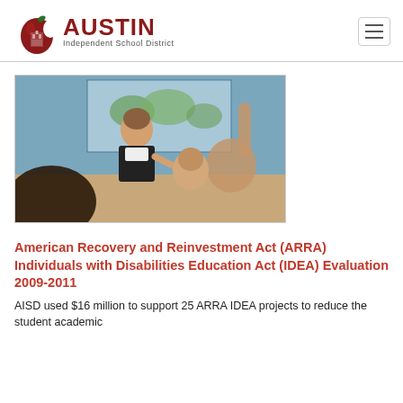AUSTIN Independent School District
[Figure (photo): Classroom scene with a female teacher pointing at a student, a student raising their hand in the foreground, and a world map visible in the background.]
American Recovery and Reinvestment Act (ARRA) Individuals with Disabilities Education Act (IDEA) Evaluation 2009-2011
AISD used $16 million to support 25 ARRA IDEA projects to reduce the student academic